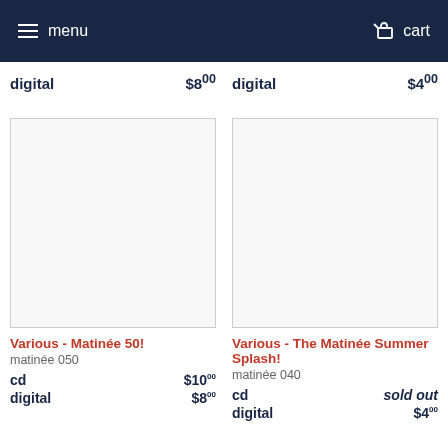menu  cart
digital  $8.00  digital  $4.00
[Figure (photo): Blank white album artwork placeholder for Various - Matinée 50!]
Various - Matinée 50!
matinée 050
cd  $10.00
digital  $8.00
[Figure (photo): Blank white album artwork placeholder for Various - The Matinée Summer Splash!]
Various - The Matinée Summer Splash!
matinée 040
cd  sold out
digital  $4.00